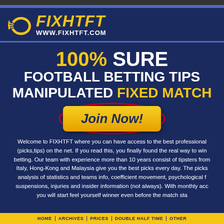[Figure (logo): FIXHTFT logo with yellow wing icon and text FIXHTFT www.fixhtft.com on dark blue background]
100% SURE FOOTBALL BETTING TIPS MANIPULATED FIXED MATCH
[Figure (other): Yellow Join Now! button with red oval outline on dark blue background]
Welcome to FIXHTFT where you can have access to the best professional (picks,tips) on the net. If you read this, you finally found the real way to win betting. Our team with experience more than 10 years consist of tipsters from Italy, Hong-Kong and Malaysia give you the best picks every day. The picks analysis of statistics and teams info, coefficient movement, psychological f suspensions, injuries and insider information (not always). With monthly acc you will start feel yourself winner even before the match sta
HOME   ARCHIVES PRICES DOUBLE HALF TIME OTHER